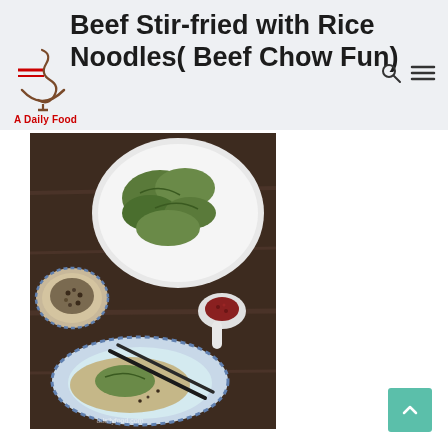Beef Stir-fried with Rice Noodles( Beef Chow Fun)
[Figure (logo): A Daily Food logo with decorative swirl/steam icon in dark red/brown and text 'A Daily Food' in red bold]
[Figure (photo): Overhead food photography showing green dumplings/potstickers in a white bowl, a small blue-patterned bowl with peppercorns/spices, a white spoon with dark red chili flakes, and a blue-patterned plate with one dumpling in broth and chopsticks, on a dark wooden table. Watermark 'adailyfood.com' visible.]